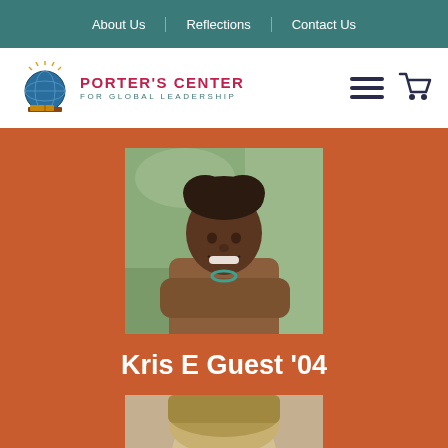About Us | Reflections | Contact Us
[Figure (logo): Porter's Center for Global Leadership logo with globe icon]
[Figure (photo): Photo of Kris E Guest '04, a woman with natural hair and a headband, smiling with arms crossed, wearing a brown jacket, outdoors with green trees behind her]
Kris E Guest '04
[Figure (photo): Partial photo of a second person, only top of head visible, appears to be a woman with light hair]